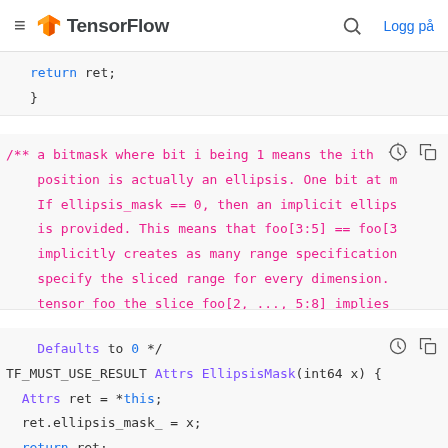TensorFlow  Logg på
return ret;
}
/** a bitmask where bit i being 1 means the ith
    position is actually an ellipsis. One bit at m
    If ellipsis_mask == 0, then an implicit ellips
    is provided. This means that foo[3:5] == foo[3
    implicitly creates as many range specification
    specify the sliced range for every dimension.
    tensor foo the slice foo[2, ..., 5:8] implies
Defaults to 0 */
TF_MUST_USE_RESULT Attrs EllipsisMask(int64 x) {
    Attrs ret = *this;
    ret.ellipsis_mask_ = x;
    return ret;